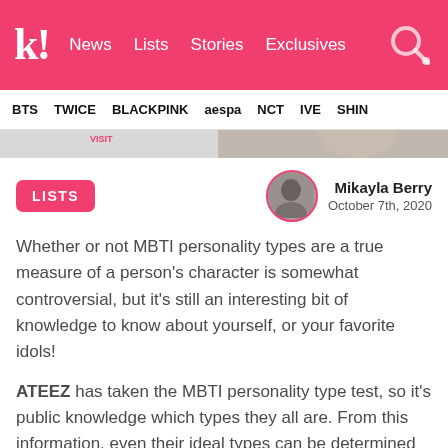k! News Lists Stories Exclusives
BTS TWICE BLACKPINK aespa NCT IVE SHIN...
[Figure (photo): Partial image strip showing a person, cropped at top]
LISTS
Mikayla Berry
October 7th, 2020
Whether or not MBTI personality types are a true measure of a person's character is somewhat controversial, but it's still an interesting bit of knowledge to know about yourself, or your favorite idols!
ATEEZ has taken the MBTI personality type test, so it's public knowledge which types they all are. From this information, even their ideal types can be determined (to some degree)! This